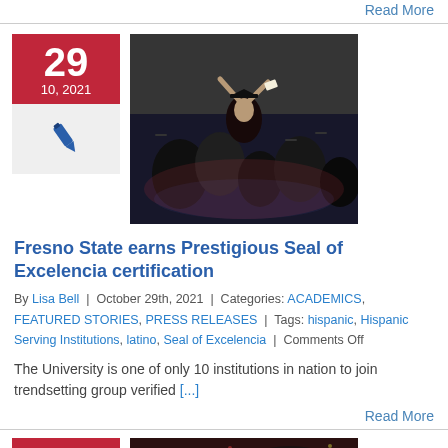Read More
[Figure (photo): Graduation ceremony photo showing students in caps and gowns celebrating, with one student raising hands joyfully]
Fresno State earns Prestigious Seal of Excelencia certification
By Lisa Bell | October 29th, 2021 | Categories: ACADEMICS, FEATURED STORIES, PRESS RELEASES | Tags: hispanic, Hispanic Serving Institutions, latino, Seal of Excelencia | Comments Off
The University is one of only 10 institutions in nation to join trendsetting group verified [...]
Read More
[Figure (photo): Another graduation photo partially visible at the bottom of the page]